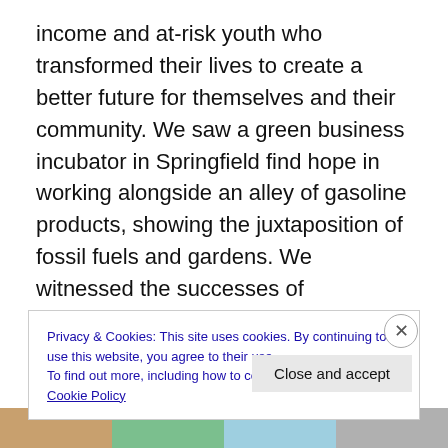income and at-risk youth who transformed their lives to create a better future for themselves and their community. We saw a green business incubator in Springfield find hope in working alongside an alley of gasoline products, showing the juxtaposition of fossil fuels and gardens. We witnessed the successes of organizations devoted to shutting down a toxic coal plant in Salem and preventing a proposed biomass plant in Springfield. We picnicked at a Catholic school with a wind turbine, and worshipped with a priest who wore a wind turbine along with his cross. There have been individuals committed to changing their lifestyle
Privacy & Cookies: This site uses cookies. By continuing to use this website, you agree to their use.
To find out more, including how to control cookies, see here: Cookie Policy